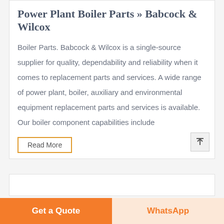Power Plant Boiler Parts >> Babcock & Wilcox
Boiler Parts. Babcock & Wilcox is a single-source supplier for quality, dependability and reliability when it comes to replacement parts and services. A wide range of power plant, boiler, auxiliary and environmental equipment replacement parts and services is available. Our boiler component capabilities include
Read More
Get a Quote
WhatsApp